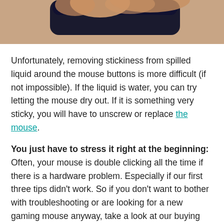[Figure (photo): Close-up photo of a hand holding a dark device (mouse or phone), cropped at the top of the page.]
Unfortunately, removing stickiness from spilled liquid around the mouse buttons is more difficult (if not impossible). If the liquid is water, you can try letting the mouse dry out. If it is something very sticky, you will have to unscrew or replace the mouse.
You just have to stress it right at the beginning: Often, your mouse is double clicking all the time if there is a hardware problem. Especially if our first three tips didn't work. So if you don't want to bother with troubleshooting or are looking for a new gaming mouse anyway, take a look at our buying guides: